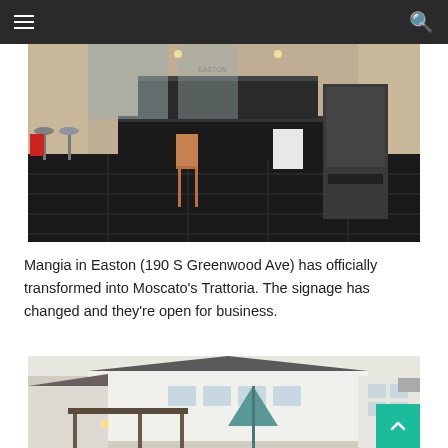Navigation bar with hamburger menu and search icon
[Figure (photo): Interior of Mangia/Moscato's Trattoria restaurant showing a bar counter with black tile floor, wooden chair in center, bar stools on left, appliances on right, and a red fire alarm box on the left wall.]
Mangia in Easton (190 S Greenwood Ave) has officially transformed into Moscato's Trattoria.  The signage has changed and they're open for business.
[Figure (photo): Exterior view of Moscato's Trattoria building showing rooftops, white siding, patio area with teal/green market umbrella, and outdoor lighting.]